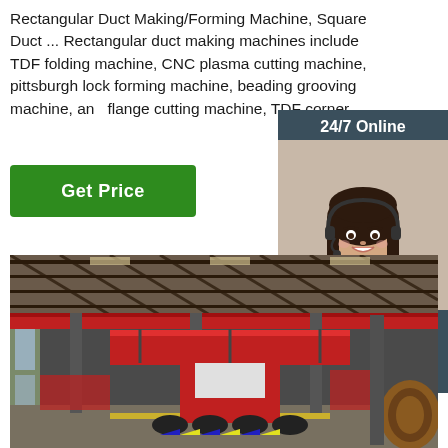Rectangular Duct Making/Forming Machine, Square Duct ... Rectangular duct making machines include TDF folding machine, CNC plasma cutting machine, pittsburgh lock forming machine, beading grooving machine, and flange cutting machine, TDF corner ...
[Figure (other): Green 'Get Price' button]
[Figure (other): 24/7 Online chat widget with customer service representative photo, 'Click here for free chat!' text, and orange QUOTATION button]
[Figure (photo): Factory interior showing large red industrial crane/machinery equipment in a steel-framed warehouse building]